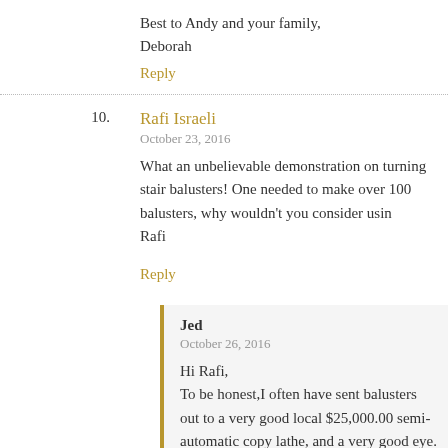Best to Andy and your family,
Deborah
Reply
10. Rafi Israeli
October 23, 2016
What an unbelievable demonstration on turning stair balusters! One needed to make over 100 balusters, why wouldn't you consider usin…
Rafi
Reply
Jed
October 26, 2016
Hi Rafi,
To be honest,I often have sent balusters out to a very good local $25,000.00 semi-automatic copy lathe, and a very good eye.
None the less:
You have to turn good samples, and there may be 4 or five diffe…